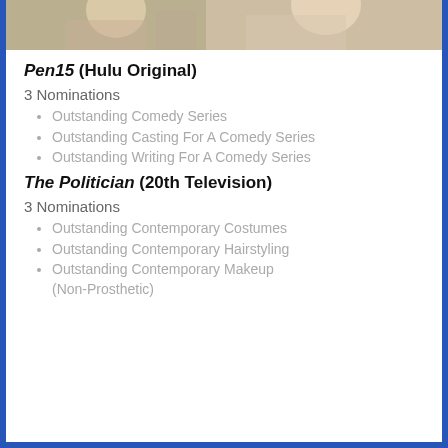[Figure (photo): Partial photo of people at the top of the page]
Pen15 (Hulu Original)
3 Nominations
Outstanding Comedy Series
Outstanding Casting For A Comedy Series
Outstanding Writing For A Comedy Series
The Politician (20th Television)
3 Nominations
Outstanding Contemporary Costumes
Outstanding Contemporary Hairstyling
Outstanding Contemporary Makeup (Non-Prosthetic)